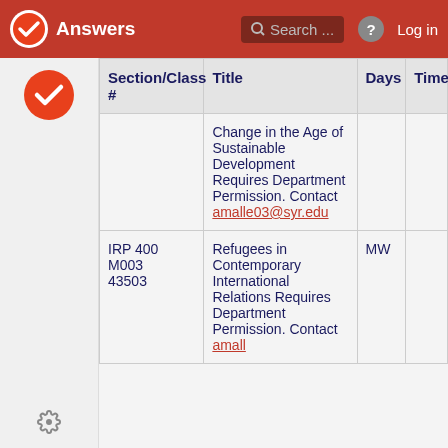Answers  Search ...  Log in
| Section/Class # | Title | Days | Time |
| --- | --- | --- | --- |
|  | Change in the Age of Sustainable Development Requires Department Permission. Contact amalle03@syr.edu |  |  |
| IRP 400 M003 43503 | Refugees in Contemporary International Relations Requires Department Permission. Contact amall... | MW |  |